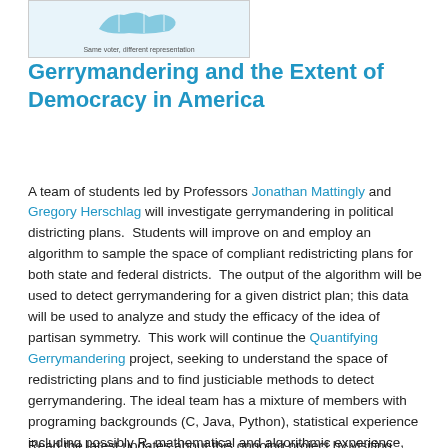[Figure (illustration): Map image with caption 'Same voter, different representation' showing redistricting visualization]
Gerrymandering and the Extent of Democracy in America
A team of students led by Professors Jonathan Mattingly and Gregory Herschlag will investigate gerrymandering in political districting plans. Students will improve on and employ an algorithm to sample the space of compliant redistricting plans for both state and federal districts. The output of the algorithm will be used to detect gerrymandering for a given district plan; this data will be used to analyze and study the efficacy of the idea of partisan symmetry. This work will continue the Quantifying Gerrymandering project, seeking to understand the space of redistricting plans and to find justiciable methods to detect gerrymandering. The ideal team has a mixture of members with programing backgrounds (C, Java, Python), statistical experience including possibly R, mathematical and algorithmic experience, and exposure to political science or other social science fields.
Read the latest updates about this ongoing project by visiting